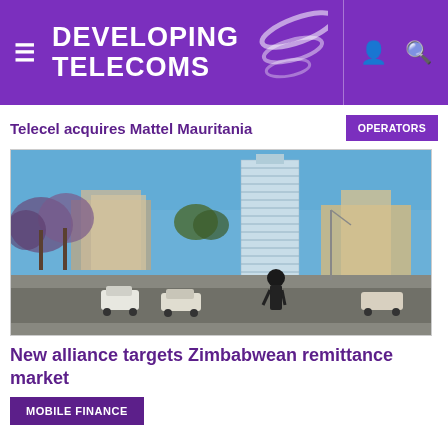DEVELOPING TELECOMS
Telecel acquires Mattel Mauritania
[Figure (photo): Street scene in Harare, Zimbabwe showing a modern high-rise glass tower, trees with purple jacaranda blossoms, street traffic with cars and pedestrians on a wide urban boulevard under a clear blue sky]
New alliance targets Zimbabwean remittance market
MOBILE FINANCE